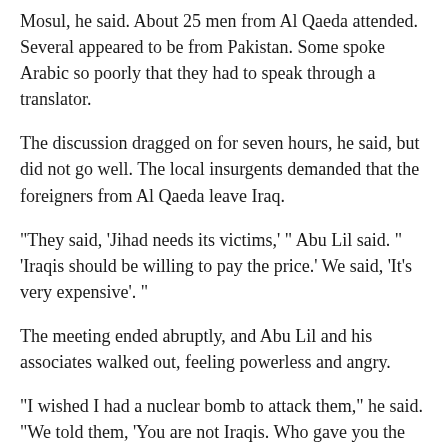Mosul, he said. About 25 men from Al Qaeda attended. Several appeared to be from Pakistan. Some spoke Arabic so poorly that they had to speak through a translator.
The discussion dragged on for seven hours, he said, but did not go well. The local insurgents demanded that the foreigners from Al Qaeda leave Iraq.
"They said, 'Jihad needs its victims,' " Abu Lil said. " 'Iraqis should be willing to pay the price.' We said, 'It's very expensive'. "
The meeting ended abruptly, and Abu Lil and his associates walked out, feeling powerless and angry.
"I wished I had a nuclear bomb to attack them," he said. "We told them, 'You are not Iraqis. Who gave you the power to do this?' "
It took two more years for Sunni Arab sentiment to turn against the militants. As the Iraqi democratic political process began, including elections and the drafting of a new constitution, the process added new fodder in some Sunni